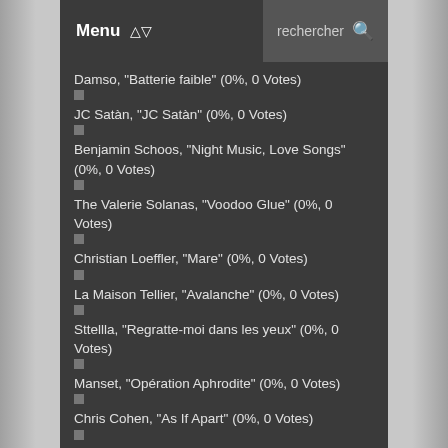Menu   rechercher
Damso, "Batterie faible" (0%, 0 Votes)
JC Satàn, "JC Satàn" (0%, 0 Votes)
Benjamin Schoos, "Night Music, Love Songs" (0%, 0 Votes)
The Valerie Solanas, "Voodoo Glue" (0%, 0 Votes)
Christian Loeffler, "Mare" (0%, 0 Votes)
La Maison Tellier, "Avalanche" (0%, 0 Votes)
Sttellla, "Regratte-moi dans les yeux" (0%, 0 Votes)
Manset, "Opération Aphrodite" (0%, 0 Votes)
Chris Cohen, "As If Apart" (0%, 0 Votes)
Italian Boyfriend, "Facing The Waves" (0%, 0 Votes)
Nonkeen, "Oddments of the Gamble" (0%, 0 Votes)
Daniel Lanois, "Goodbye to Language" (0%, 0